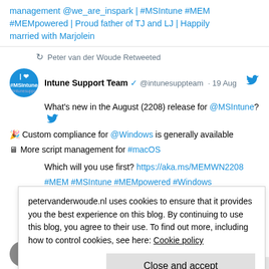management @we_are_inspark | #MSIntune #MEM #MEMpowered | Proud father of TJ and LJ | Happily married with Marjolein
Peter van der Woude Retweeted
Intune Support Team @intunesuppteam · 19 Aug
What's new in the August (2208) release for @MSIntune?
🎉 Custom compliance for @Windows is generally available
🖥 More script management for #macOS
Which will you use first? https://aka.ms/MEMWN2208
#MEM #MSIntune #MEMpowered #Windows #Compliance
petervanderwoude.nl uses cookies to ensure that it provides you the best experience on this blog. By continuing to use this blog, you agree to their use. To find out more, including how to control cookies, see here: Cookie policy
Close and accept
Over the last weeks, I did a deep dive into #Azure Continuous access elevation and today I share the re